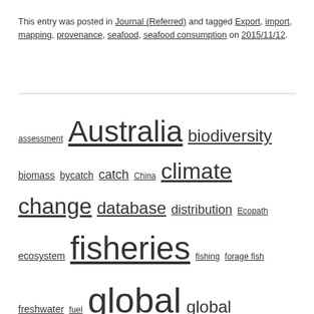This entry was posted in Journal (Referred) and tagged Export, import, mapping, provenance, seafood, seafood consumption on 2015/11/12.
[Figure (other): Tag cloud containing marine/fisheries research keywords sized by frequency of use, including: assessment, Australia, biodiversity, biomass, bycatch, catch, China, climate change, database, distribution, Ecopath, ecosystem, fisheries, fishing, forage fish, freshwater, fuel, global, global fisheries, high seas, impacts, landings, Large Marine Ecosystem, LME, management, mapping, marine, marine mammal, model, mpa, parasitology, prawn, Regional seas, saup, seabird, shrimp, simulation, statistics, subsidy, sustainability, tagging, Torres Strait, trawl, trophic level, value]